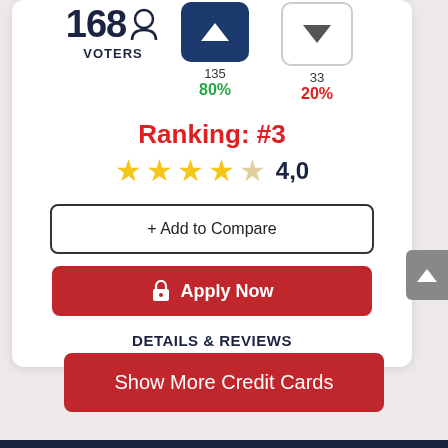168 VOTERS
135
80%
33
20%
Ranking: #3
4,0
+ Add to Compare
Apply Now
DETAILS & REVIEWS
Show More Credit Cards